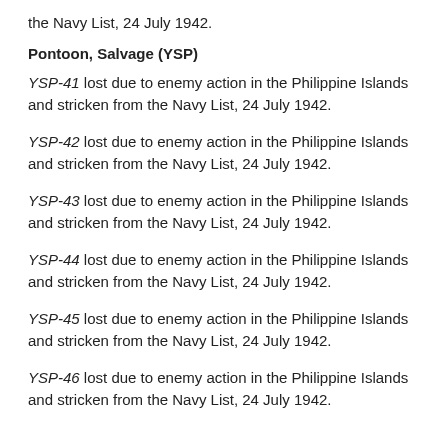the Navy List, 24 July 1942.
Pontoon, Salvage (YSP)
YSP-41 lost due to enemy action in the Philippine Islands and stricken from the Navy List, 24 July 1942.
YSP-42 lost due to enemy action in the Philippine Islands and stricken from the Navy List, 24 July 1942.
YSP-43 lost due to enemy action in the Philippine Islands and stricken from the Navy List, 24 July 1942.
YSP-44 lost due to enemy action in the Philippine Islands and stricken from the Navy List, 24 July 1942.
YSP-45 lost due to enemy action in the Philippine Islands and stricken from the Navy List, 24 July 1942.
YSP-46 lost due to enemy action in the Philippine Islands and stricken from the Navy List, 24 July 1942.